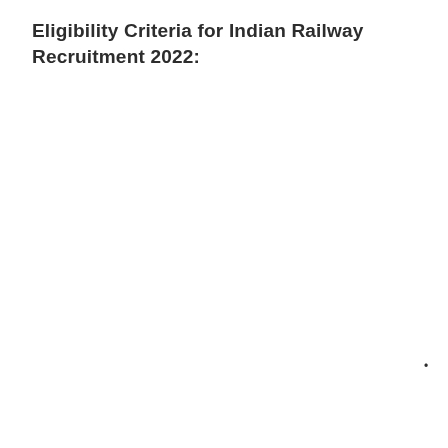Eligibility Criteria for Indian Railway Recruitment 2022:
•